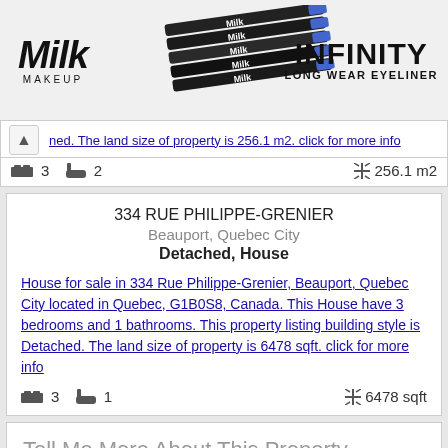[Figure (illustration): Milk Makeup advertisement banner showing Infinity Long Wear Eyeliner with product pens in center]
ned. The land size of property is 256.1 m2. click for more info
3 bedrooms  2 bathrooms  256.1 m2
334 RUE PHILIPPE-GRENIER
Beauport, Quebec City
Detached, House
House for sale in 334 Rue Philippe-Grenier, Beauport, Quebec City located in Quebec, G1B0S8, Canada. This House have 3 bedrooms and 1 bathrooms. This property listing building style is Detached. The land size of property is 6478 sqft. click for more info
3 bedrooms  1 bathroom  6478 sqft
Tell Me More About This Property
(Do not visit real estate objects without first agreeing on a visit)
Your name